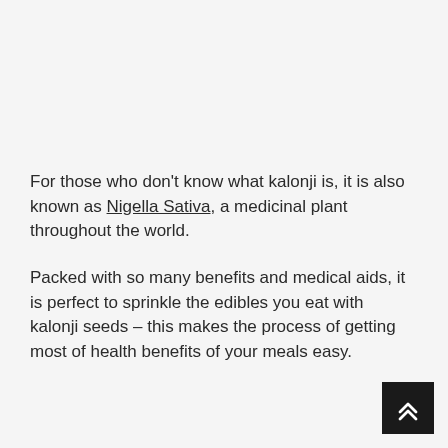For those who don't know what kalonji is, it is also known as Nigella Sativa, a medicinal plant throughout the world.
Packed with so many benefits and medical aids, it is perfect to sprinkle the edibles you eat with kalonji seeds – this makes the process of getting most of health benefits of your meals easy.